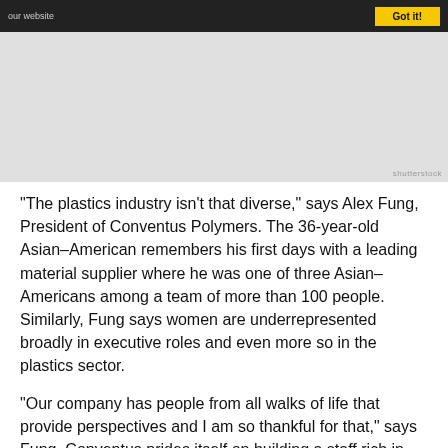our website | Got it!
[Figure (photo): Gray placeholder image area with Shutterstock watermark in lower right corner]
“The plastics industry isn’t that diverse,” says Alex Fung, President of Conventus Polymers. The 36-year-old Asian–American remembers his first days with a leading material supplier where he was one of three Asian–Americans among a team of more than 100 people. Similarly, Fung says women are underrepresented broadly in executive roles and even more so in the plastics sector.
“Our company has people from all walks of life that provide perspectives and I am so thankful for that,” says Fung. Conventus prides itself on building a staff rich in ethnic diversity and balanced in areas of gender, age